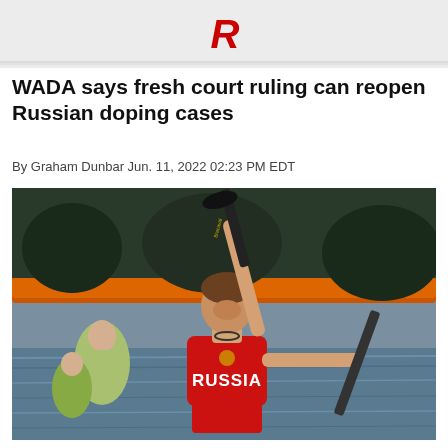[Figure (logo): AP news logo / banner at top with red stylized R]
WADA says fresh court ruling can reopen Russian doping cases
By Graham Dunbar Jun. 11, 2022 02:23 PM EDT
[Figure (photo): A Russian canoe athlete in red Russia jersey celebrates with paddle raised overhead, smiling, after a race on water. Another athlete in background. Outdoor water sports venue.]